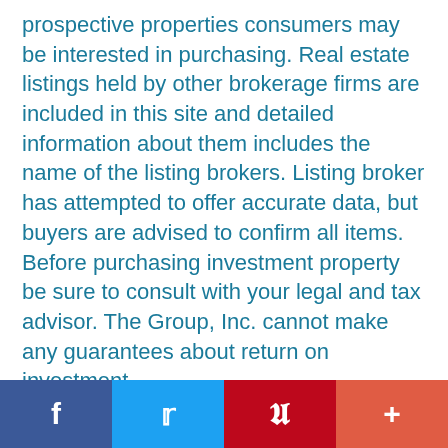prospective properties consumers may be interested in purchasing. Real estate listings held by other brokerage firms are included in this site and detailed information about them includes the name of the listing brokers. Listing broker has attempted to offer accurate data, but buyers are advised to confirm all items. Before purchasing investment property be sure to consult with your legal and tax advisor. The Group, Inc. cannot make any guarantees about return on investment.
[Figure (logo): LRES logo with stylized eye graphic and text I.R.E.S.]
The content relating to real estate for sale in this Web site comes in part from the Internet Data eXchange (IDX) program of METROLIST, INC., DBA RECOLORADO®. Real estate listings held by brokers other than [insert IDX Subscriber's firm name here] are marked with the IDX Logo. This information is being provided for the consumers' personal, non-commercial use and may not be used for any other purpose. All information subject to change and should
[Figure (infographic): Social sharing bar with Facebook, Twitter, Pinterest, and plus buttons]